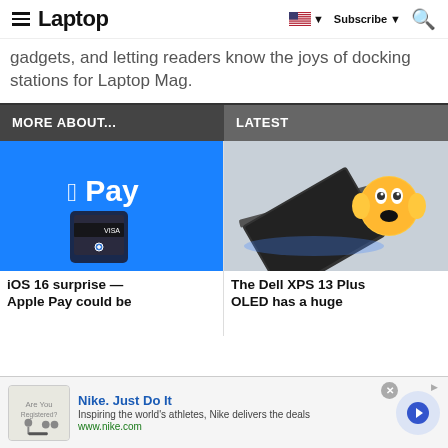Laptop — Subscribe
gadgets, and letting readers know the joys of docking stations for Laptop Mag.
MORE ABOUT...
LATEST
[Figure (photo): Apple Pay logo on blue background with iPhone]
iOS 16 surprise — Apple Pay could be
[Figure (photo): Dell XPS 13 Plus OLED laptop with screaming face emoji]
The Dell XPS 13 Plus OLED has a huge
[Figure (other): Nike advertisement: Nike. Just Do It — Inspiring the world's athletes, Nike delivers the deals. www.nike.com]